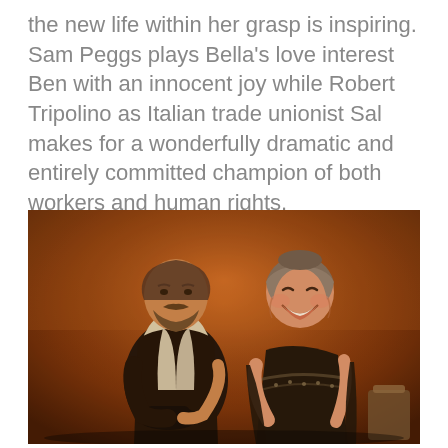the new life within her grasp is inspiring. Sam Peggs plays Bella's love interest Ben with an innocent joy while Robert Tripolino as Italian trade unionist Sal makes for a wonderfully dramatic and entirely committed champion of both workers and human rights.
[Figure (photo): Two actors on a warmly lit, atmospheric stage. On the left, a bearded man in a dark vest over a white shirt holding a dark hat. On the right, a woman in a headscarf and dark patterned shawl, smiling broadly. The background is hazy and amber-toned.]